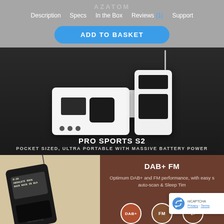AZATOM
Description | Specs | In the Box | Reviews (1) | Support
ADD TO BASKET
[Figure (photo): AZATOM Pro Sports S2 DAB+ FM pocket radios in white, shown in multiple angles on a dark reflective surface. Text: PRO SPORTS S2 / POCKET SIZED, ULTRA PORTABLE WITH MASSIVE BATTERY POWER]
[Figure (photo): Close-up of AZATOM Pro Sports S2 black DAB+ radio with screen showing 'ABSOLUTE ROCK / ROCK BACK IN BLA', laid on wooden surface. Right panel shows DAB+ FM text, features description: Optimum DAB+ and FM performance, with easy scan, auto-scan & Sleep Timer. DAB, FM, sleep icons at bottom. reCAPTCHA badge visible.]
DAB+ FM
Optimum DAB+ and FM performance, with easy scan, auto-scan & Sleep Timer